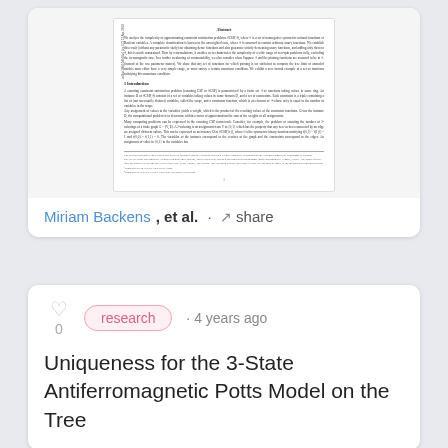[Figure (screenshot): Preview thumbnail of an academic paper page showing Abstract and Introduction sections with arXiv label on the left side]
Miriam Backens, et al. · share
research · 4 years ago
Uniqueness for the 3-State Antiferromagnetic Potts Model on the Tree